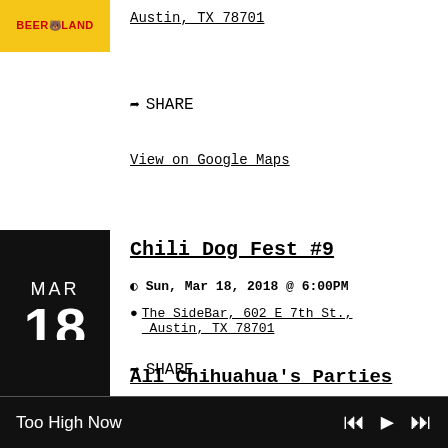[Figure (logo): Beer Land logo - yellow/red text on yellow background]
Austin, TX 78701
⟳ SHARE
View on Google Maps
[Figure (other): Black calendar box showing MAR 18]
Chili Dog Fest #9
Sun, Mar 18, 2018 @ 6:00PM
The SideBar, 602 E 7th St., Austin, TX 78701
⟳ SHARE
View on Google Maps
[Figure (other): Black calendar box (partial) for next event]
All Chihuahua's Parties
Too High Now  ⏮ ▶ ⏭